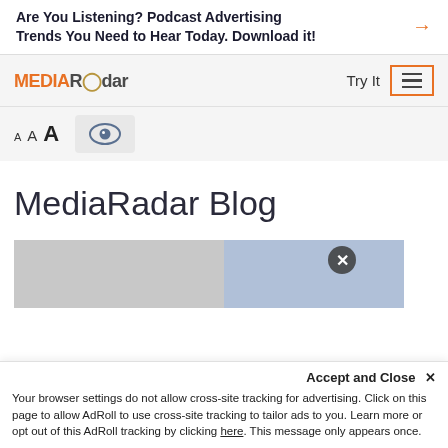Are You Listening? Podcast Advertising Trends You Need to Hear Today. Download it!
[Figure (logo): MEDIARadar logo with orange MEDIA text and gray Radar text with antenna icon]
Try It
[Figure (other): Hamburger menu icon inside orange rectangle border]
[Figure (other): Accessibility toolbar with three A letters of increasing size and an eye icon button]
MediaRadar Blog
[Figure (photo): Partial blog article image preview with close X button]
Accept and Close ✕
Your browser settings do not allow cross-site tracking for advertising. Click on this page to allow AdRoll to use cross-site tracking to tailor ads to you. Learn more or opt out of this AdRoll tracking by clicking here. This message only appears once.